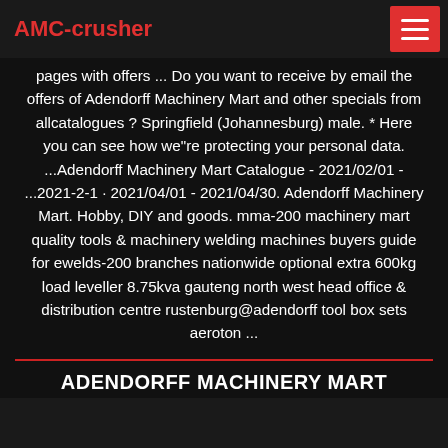AMC-crusher
pages with offers ... Do you want to receive by email the offers of Adendorff Machinery Mart and other specials from allcatalogues ? Springfield (Johannesburg) male. * Here you can see how we"re protecting your personal data. ...Adendorff Machinery Mart Catalogue - 2021/02/01 - ...2021-2-1 · 2021/04/01 - 2021/04/30. Adendorff Machinery Mart. Hobby, DIY and goods. mma-200 machinery mart quality tools & machinery welding machines buyers guide for ewelds-200 branches nationwide optional extra 600kg load leveller 8.75kva gauteng north west head office & distribution centre rustenburg@adendorff tool box sets aeroton ...
ADENDORFF MACHINERY MART